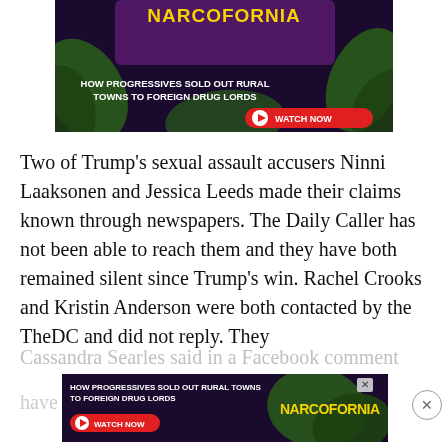[Figure (screenshot): Advertisement banner for 'Narcofornia' documentary showing cannabis leaves with text 'HOW PROGRESSIVES SOLD OUT RURAL TOWNS TO FOREIGN DRUG LORDS' and a 'WATCH NOW' button]
Two of Trump's sexual assault accusers Ninni Laaksonen and Jessica Leeds made their claims known through newspapers. The Daily Caller has not been able to reach them and they have both remained silent since Trump's win. Rachel Crooks and Kristin Anderson were both contacted by the TheDC and did not reply. They have [faded] Cassandra Searles said in a Facebook comment
[Figure (screenshot): Second smaller advertisement for Narcofornia with 'HOW PROGRESSIVES SOLD OUT RURAL TOWNS TO FOREIGN DRUG LORDS' text, cannabis imagery, and WATCH NOW button with close X button]